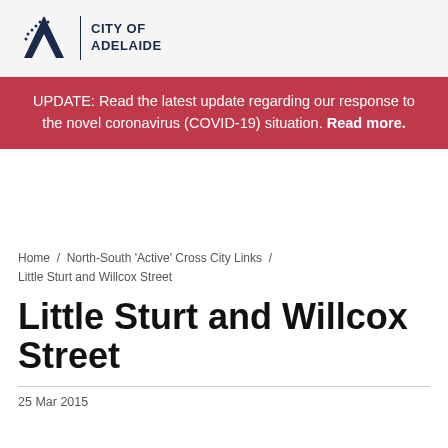[Figure (logo): City of Adelaide logo with stylized 'A' mark and text 'CITY OF ADELAIDE']
UPDATE: Read the latest update regarding our response to the novel coronavirus (COVID-19) situation. Read more.
Home / North-South 'Active' Cross City Links / Little Sturt and Willcox Street
Little Sturt and Willcox Street
25 Mar 2015